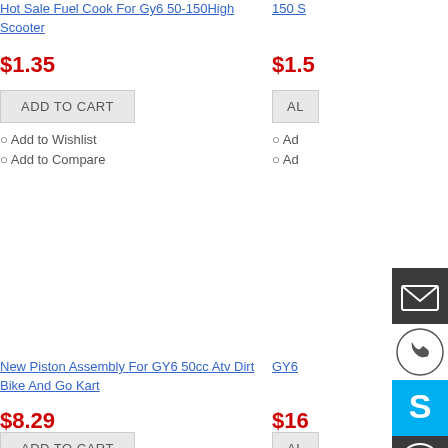Hot Sale Fuel Cook For Gy6 50-150 High Scooter
$1.35
ADD TO CART
Add to Wishlist
Add to Compare
$1.5
AD
Ad
Ad
[Figure (screenshot): Sidebar contact icons: email (envelope), phone, Skype (S logo), scroll-to-top arrow]
New Piston Assembly For GY6 50cc Atv Dirt Bike And Go Kart
$8.29
ADD TO CART
GY6
$16
AD